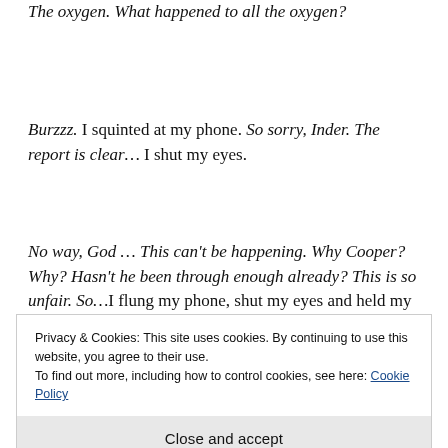The oxygen. What happened to all the oxygen?
Burzzz. I squinted at my phone. So sorry, Inder. The report is clear… I shut my eyes.
No way, God … This can't be happening. Why Cooper? Why? Hasn't he been through enough already? This is so unfair. So…I flung my phone, shut my eyes and held my face in my hands.
Privacy & Cookies: This site uses cookies. By continuing to use this website, you agree to their use. To find out more, including how to control cookies, see here: Cookie Policy
Close and accept
wisdom is not—